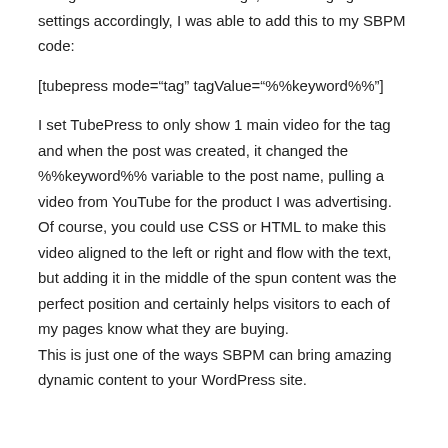Using one of the TubePress tags, and changing the settings accordingly, I was able to add this to my SBPM code:
[tubepress mode="tag" tagValue="%%keyword%%"]
I set TubePress to only show 1 main video for the tag and when the post was created, it changed the %%keyword%% variable to the post name, pulling a video from YouTube for the product I was advertising.
Of course, you could use CSS or HTML to make this video aligned to the left or right and flow with the text, but adding it in the middle of the spun content was the perfect position and certainly helps visitors to each of my pages know what they are buying.
This is just one of the ways SBPM can bring amazing dynamic content to your WordPress site.